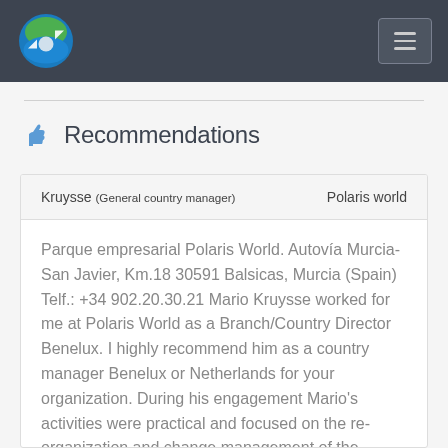Navigation bar with logo and menu button
Recommendations
| Kruysse (General country manager) | Polaris world |
| --- | --- |
| Parque empresarial Polaris World. Autovía Murcia-San Javier, Km.18 30591 Balsicas, Murcia (Spain) Telf.: +34 902.20.30.21 Mario Kruysse worked for me at Polaris World as a Branch/Country Director Benelux. I highly recommend him as a country manager Benelux or Netherlands for your organization. During his engagement Mario's activities were practical and focused on the re-organization and change management of the Benelux operation, managing both branches (25 fte) in Brussels and Amsterdam, with strong focus on sales, business- & relationships development and |  |